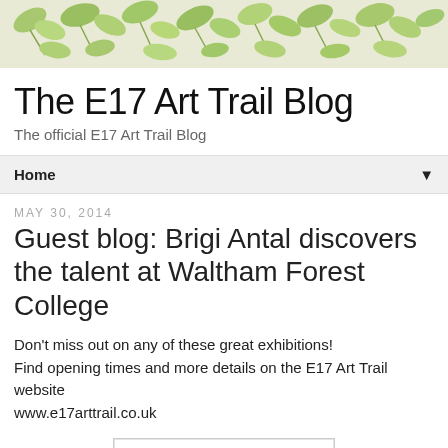[Figure (illustration): Decorative header banner with green leaf pattern on cream/beige background]
The E17 Art Trail Blog
The official E17 Art Trail Blog
Home ▼
May 30, 2014
Guest blog: Brigi Antal discovers the talent at Waltham Forest College
Don't miss out on any of these great exhibitions! Find opening times and more details on the E17 Art Trail website www.e17arttrail.co.uk
[Figure (screenshot): HNC Art & Design exhibition poster for Waltham Forest College students' work, showing colorful artwork thumbnails]